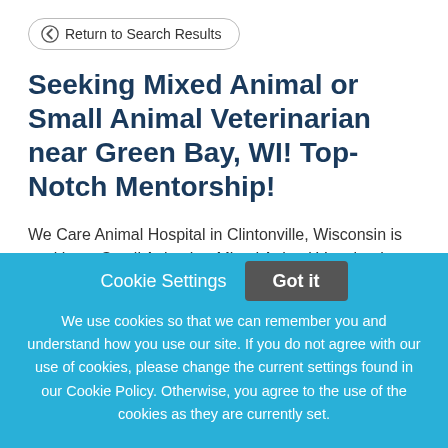Return to Search Results
Seeking Mixed Animal or Small Animal Veterinarian near Green Bay, WI! Top-Notch Mentorship!
We Care Animal Hospital in Clintonville, Wisconsin is seeking a Small Animal or Mixed Animal Veterinarian to join our growing team. Our practice sees about 75% small animal (with the occasional exotic/pocket pet) and 25%
Cookie Settings
Got it
We use cookies so that we can remember you and understand how you use our site. If you do not agree with our use of cookies, please change the current settings found in our Cookie Policy. Otherwise, you agree to the use of the cookies as they are currently set.